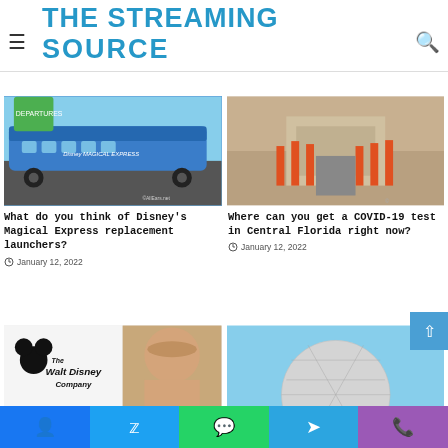THE STREAMING SOURCE
[Figure (photo): Disney Magical Express bus at departure area]
What do you think of Disney's Magical Express replacement launchers?
January 12, 2022
[Figure (photo): COVID-19 test site in Central Florida with orange cones and barriers]
Where can you get a COVID-19 test in Central Florida right now?
January 12, 2022
[Figure (photo): Walt Disney Company logo with Mickey Mouse and man's portrait]
[Figure (photo): Epcot Spaceship Earth geodesic sphere against blue sky]
Facebook Twitter WhatsApp Telegram Phone